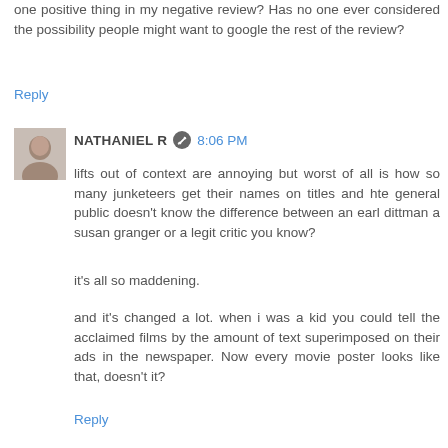one positive thing in my negative review? Has no one ever considered the possibility people might want to google the rest of the review?
Reply
[Figure (photo): Small avatar photo of a person]
NATHANIEL R  8:06 PM
lifts out of context are annoying but worst of all is how so many junketeers get their names on titles and hte general public doesn't know the difference between an earl dittman a susan granger or a legit critic you know?
it's all so maddening.
and it's changed a lot. when i was a kid you could tell the acclaimed films by the amount of text superimposed on their ads in the newspaper. Now every movie poster looks like that, doesn't it?
Reply